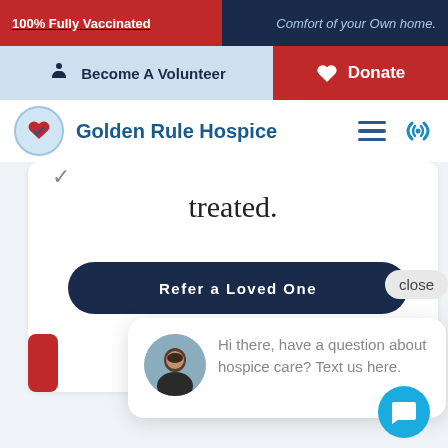100% Fully Vaccinated
Comfort of your Own home.
Become A Volunteer
Donate
Golden Rule Hospice
treated.
Refer a Loved One
close
Hi there, have a question about hospice care? Text us here.